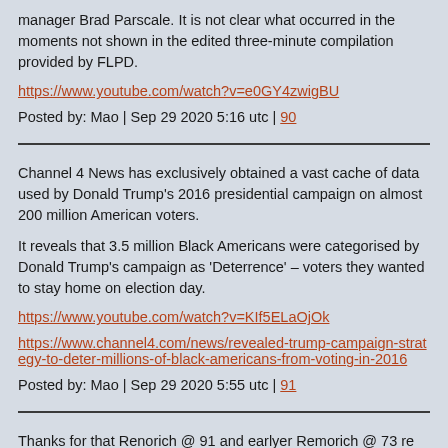manager Brad Parscale. It is not clear what occurred in the moments not shown in the edited three-minute compilation provided by FLPD.
https://www.youtube.com/watch?v=e0GY4zwigBU
Posted by: Mao | Sep 29 2020 5:16 utc | 90
Channel 4 News has exclusively obtained a vast cache of data used by Donald Trump's 2016 presidential campaign on almost 200 million American voters.
It reveals that 3.5 million Black Americans were categorised by Donald Trump's campaign as ‘Deterrence’ – voters they wanted to stay home on election day.
https://www.youtube.com/watch?v=KIf5ELaOjOk
https://www.channel4.com/news/revealed-trump-campaign-strategy-to-deter-millions-of-black-americans-from-voting-in-2016
Posted by: Mao | Sep 29 2020 5:55 utc | 91
Thanks for that Renorich @ 91 and earlyer Remorich @ 73 re yet another leak, if I was Trump I’d realease Julian Assange ! Before the Epstein leak hits the fan.